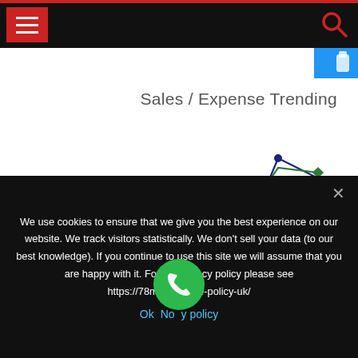Navigation header with hamburger menu and search icon
Sales / Expense Trending
[Figure (line-chart): Multi-series line chart showing sales and expense trending over multiple time periods. Lines in red, blue (dark), green (dark), yellow/gold, olive/dark yellow, and light blue/periwinkle colors, all trending upward from lower left to upper right with some variation.]
We be t
We use cookies to ensure that we give you the best experience on our website. We track visitors statistically. We don't sell your data (to our best knowledge). If you continue to use this site we will assume that you are happy with it. For UK privacy policy please see https://78mytax.../okie-policy-uk/
Ok  No  y policy